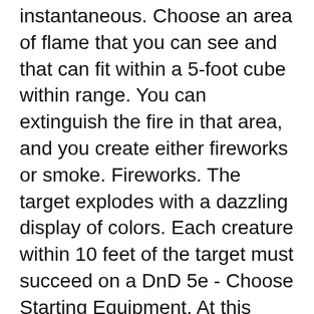instantaneous. Choose an area of flame that you can see and that can fit within a 5-foot cube within range. You can extinguish the fire in that area, and you create either fireworks or smoke. Fireworks. The target explodes with a dazzling display of colors. Each creature within 10 feet of the target must succeed on a DnD 5e - Choose Starting Equipment. At this point you've filled out all of your character's stats and proficiencies. You know what your character is capable of, and what kinds of weapons and armor they're proficienct with. Now, it's time to choose starting equipment.
DnD 5e - Choose Starting Equipment. At